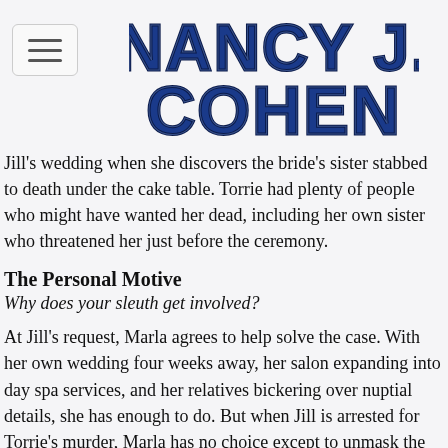[Figure (logo): Nancy J. Cohen logo in bold blue serif font with dark outline]
Jill's wedding when she discovers the bride's sister stabbed to death under the cake table. Torrie had plenty of people who might have wanted her dead, including her own sister who threatened her just before the ceremony.
The Personal Motive
Why does your sleuth get involved?
At Jill's request, Marla agrees to help solve the case. With her own wedding four weeks away, her salon expanding into day spa services, and her relatives bickering over nuptial details, she has enough to do. But when Jill is arrested for Torrie's murder, Marla has no choice except to unmask the